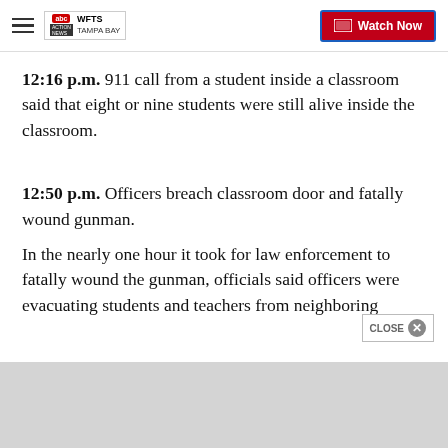WFTS Tampa Bay ABC News — Watch Now
12:16 p.m. 911 call from a student inside a classroom said that eight or nine students were still alive inside the classroom.
12:50 p.m. Officers breach classroom door and fatally wound gunman.
In the nearly one hour it took for law enforcement to fatally wound the gunman, officials said officers were evacuating students and teachers from neighboring